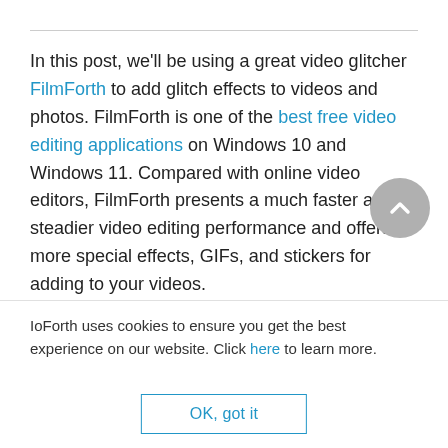In this post, we'll be using a great video glitcher FilmForth to add glitch effects to videos and photos. FilmForth is one of the best free video editing applications on Windows 10 and Windows 11. Compared with online video editors, FilmForth presents a much faster and steadier video editing performance and offers more special effects, GIFs, and stickers for adding to your videos.

FilmForth video editor is an extraordinary choice for
IoForth uses cookies to ensure you get the best experience on our website. Click here to learn more.